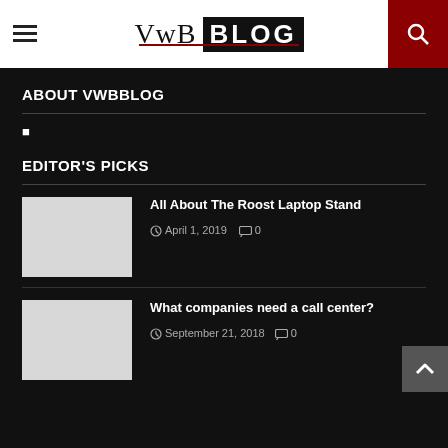VwB BLOG
ABOUT VWBBLOG
■
EDITOR'S PICKS
All About The Roost Laptop Stand
April 1, 2019  0
What companies need a call center?
September 21, 2018  0